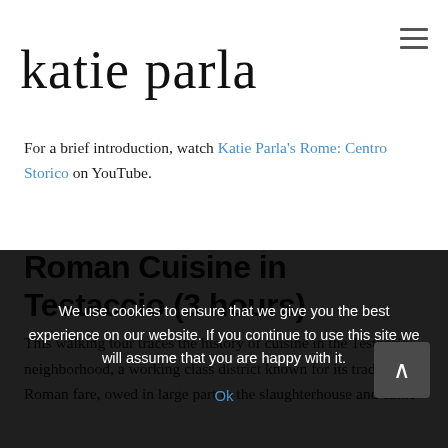katie parla
For a brief introduction, watch Katie Parla's Rome: Centro Storico on YouTube.
Roman Cuisine in Testaccio (3 hours)
This walking tour traces the history of cuisine in the Testaccio neighborhood, a working class district known for its traditional Roman fare, owed in large part to the slaughterhouse and cattle
We use cookies to ensure that we give you the best experience on our website. If you continue to use this site we will assume that you are happy with it.
Ok